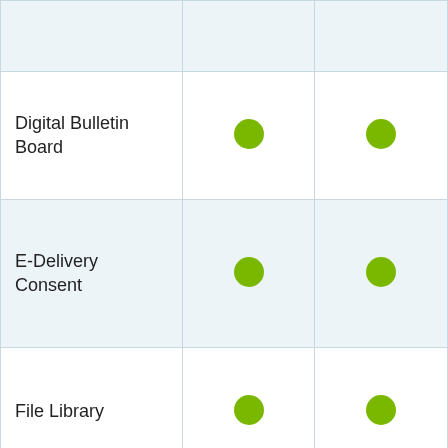| Feature | Column 2 | Column 3 |
| --- | --- | --- |
|  |  |  |
| Digital Bulletin Board | ● | ● |
| E-Delivery Consent | ● | ● |
| File Library | ● | ● |
| Mobile App | ● | ● |
|  | ● | ● |